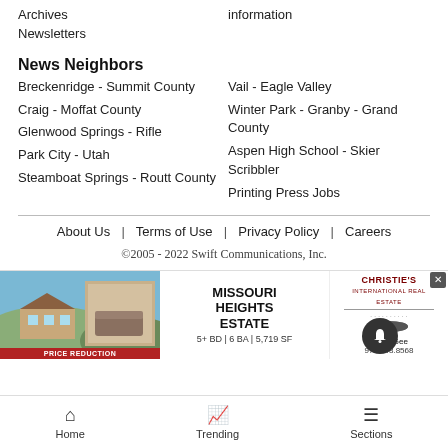Archives
information
Newsletters
News Neighbors
Breckenridge - Summit County
Vail - Eagle Valley
Craig - Moffat County
Winter Park - Granby - Grand County
Glenwood Springs - Rifle
Aspen High School - Skier Scribbler
Park City - Utah
Printing Press Jobs
Steamboat Springs - Routt County
About Us | Terms of Use | Privacy Policy | Careers
©2005 - 2022 Swift Communications, Inc.
[Figure (screenshot): Advertisement banner for Missouri Heights Estate by Christie's International Real Estate, showing property photos with price reduction label, agent Laura Gee, phone 970.948.8568, 5+ BD | 6 BA | 5,719 SF]
Home   Trending   Sections